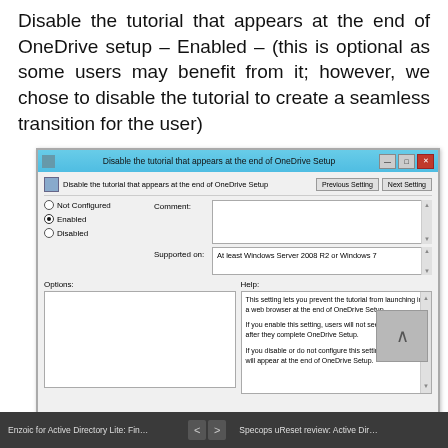Disable the tutorial that appears at the end of OneDrive setup – Enabled – (this is optional as some users may benefit from it; however, we chose to disable the tutorial to create a seamless transition for the user)
[Figure (screenshot): Windows Group Policy dialog showing 'Disable the tutorial that appears at the end of OneDrive Setup' setting with Enabled radio button selected. Comment and Supported on fields visible, Help text describes the setting behavior. Bottom navigation bar shows browser tabs for Enzoic for Active Directory Lite and Specops uReset review.]